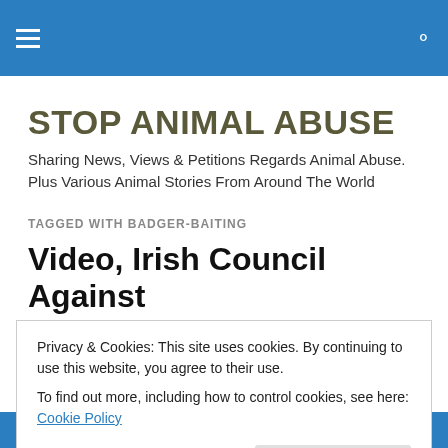Stop Animal Abuse — navigation bar with hamburger menu and search icon
STOP ANIMAL ABUSE
Sharing News, Views & Petitions Regards Animal Abuse. Plus Various Animal Stories From Around The World
TAGGED WITH BADGER-BAITING
Video, Irish Council Against
Privacy & Cookies: This site uses cookies. By continuing to use this website, you agree to their use.
To find out more, including how to control cookies, see here: Cookie Policy
Close and accept
Received this email today & need extra hands to